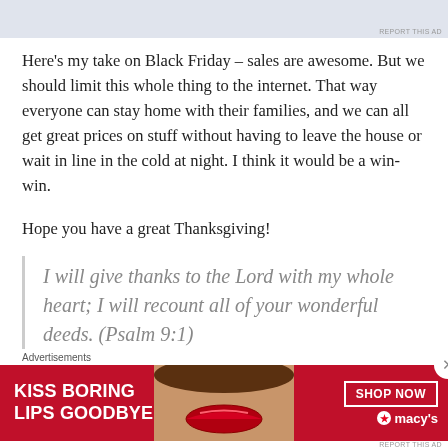[Figure (other): Top advertisement banner area (light blue-grey rectangle placeholder)]
Here’s my take on Black Friday – sales are awesome. But we should limit this whole thing to the internet. That way everyone can stay home with their families, and we can all get great prices on stuff without having to leave the house or wait in line in the cold at night. I think it would be a win-win.
Hope you have a great Thanksgiving!
I will give thanks to the Lord with my whole heart; I will recount all of your wonderful deeds. (Psalm 9:1)
Advertisements
[Figure (photo): Macy’s advertisement banner: red background, woman’s face with red lips, text KISS BORING LIPS GOODBYE, SHOP NOW button, Macy’s star logo]